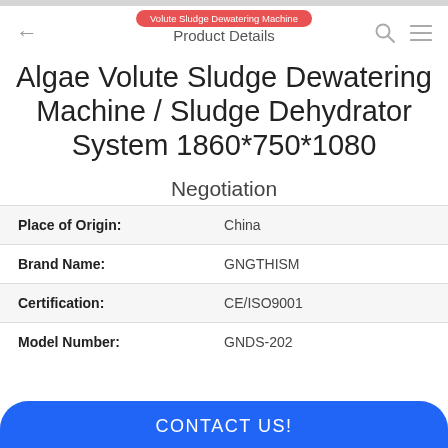Product Details
Algae Volute Sludge Dewatering Machine / Sludge Dehydrator System 1860*750*1080
Negotiation
|  |  |
| --- | --- |
| Place of Origin: | China |
| Brand Name: | GNGTHISM |
| Certification: | CE/ISO9001 |
| Model Number: | GNDS-202 |
CONTACT US!